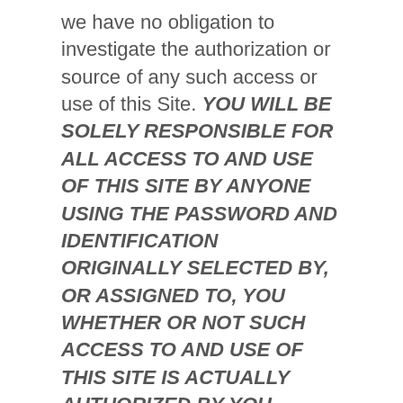we have no obligation to investigate the authorization or source of any such access or use of this Site. YOU WILL BE SOLELY RESPONSIBLE FOR ALL ACCESS TO AND USE OF THIS SITE BY ANYONE USING THE PASSWORD AND IDENTIFICATION ORIGINALLY SELECTED BY, OR ASSIGNED TO, YOU WHETHER OR NOT SUCH ACCESS TO AND USE OF THIS SITE IS ACTUALLY AUTHORIZED BY YOU, INCLUDING WITHOUT LIMITATION, ALL COMMUNICATIONS AND TRANSMISSIONS AND ALL